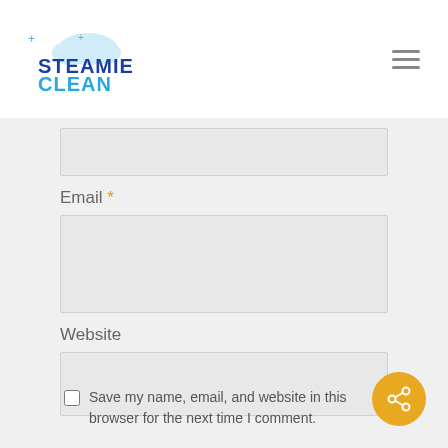[Figure (logo): Steamie Clean logo with cloud/steam icon above the text STEAMIE CLEAN in blue]
Email *
Website
Save my name, email, and website in this browser for the next time I comment.